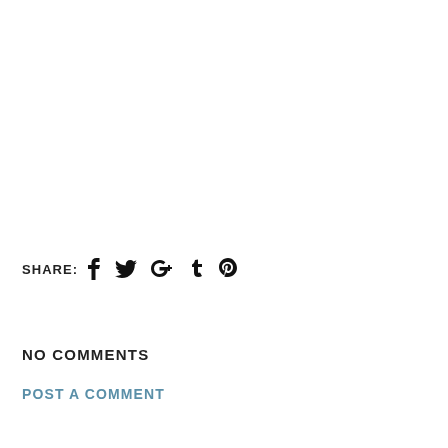SHARE: [facebook] [twitter] [google+] [tumblr] [pinterest]
NO COMMENTS
POST A COMMENT